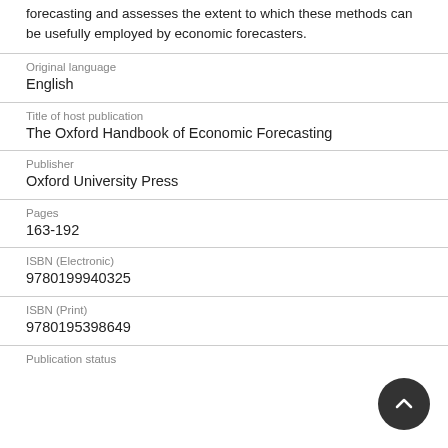forecasting and assesses the extent to which these methods can be usefully employed by economic forecasters.
| Field | Value |
| --- | --- |
| Original language | English |
| Title of host publication | The Oxford Handbook of Economic Forecasting |
| Publisher | Oxford University Press |
| Pages | 163-192 |
| ISBN (Electronic) | 9780199940325 |
| ISBN (Print) | 9780195398649 |
| Publication status |  |